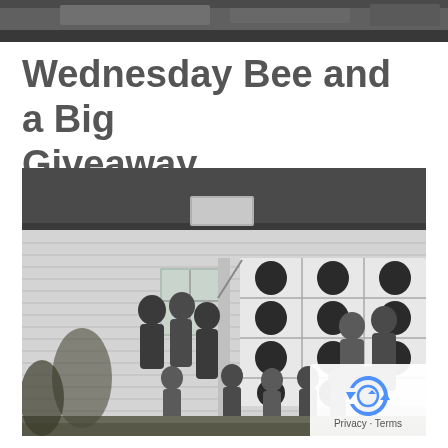[Figure (photo): Top cropped black and white photo, partial view of outdoor scene]
Wednesday Bee and a Big Giveaway
[Figure (photo): Black and white vintage photograph of a group of women and children standing in front of a white clapboard house, holding up a quilt with repetitive square pattern motifs. A reCAPTCHA privacy notice overlay appears in the bottom-right corner.]